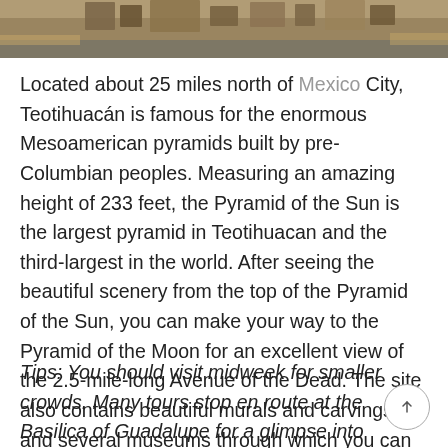[Figure (photo): Aerial or ground-level photo of Teotihuacán pyramids and surrounding landscape, cropped to top portion only]
Located about 25 miles north of Mexico City, Teotihuacán is famous for the enormous Mesoamerican pyramids built by pre-Columbian peoples. Measuring an amazing height of 233 feet, the Pyramid of the Sun is the largest pyramid in Teotihuacan and the third-largest in the world. After seeing the beautiful scenery from the top of the Pyramid of the Sun, you can make your way to the Pyramid of the Moon for an excellent view of the 2.5-mile-long Avenue of the Dead. The site also contains beautiful murals and carvings and several museums through which you can explore the city's fascinating history.
Tips: You should visit midweek for smaller crowds. Many tours stop en route at the Basilica of Guadalupe for a glimpse into another aspect of Mexican culture.